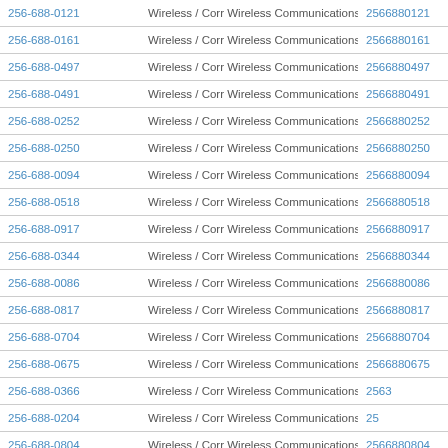| 256-688-0121 | Wireless / Corr Wireless Communications | 2566880121 |
| 256-688-0161 | Wireless / Corr Wireless Communications | 2566880161 |
| 256-688-0497 | Wireless / Corr Wireless Communications | 2566880497 |
| 256-688-0491 | Wireless / Corr Wireless Communications | 2566880491 |
| 256-688-0252 | Wireless / Corr Wireless Communications | 2566880252 |
| 256-688-0250 | Wireless / Corr Wireless Communications | 2566880250 |
| 256-688-0094 | Wireless / Corr Wireless Communications | 2566880094 |
| 256-688-0518 | Wireless / Corr Wireless Communications | 2566880518 |
| 256-688-0917 | Wireless / Corr Wireless Communications | 2566880917 |
| 256-688-0344 | Wireless / Corr Wireless Communications | 2566880344 |
| 256-688-0086 | Wireless / Corr Wireless Communications | 2566880086 |
| 256-688-0817 | Wireless / Corr Wireless Communications | 2566880817 |
| 256-688-0704 | Wireless / Corr Wireless Communications | 2566880704 |
| 256-688-0675 | Wireless / Corr Wireless Communications | 2566880675 |
| 256-688-0366 | Wireless / Corr Wireless Communications | 256…3 |
| 256-688-0204 | Wireless / Corr Wireless Communications | 256… |
| 256-688-0804 | Wireless / Corr Wireless Communications | 2566880804 |
| 256-688-0505 | Wireless / Corr Wireless Communications | 2566880505 |